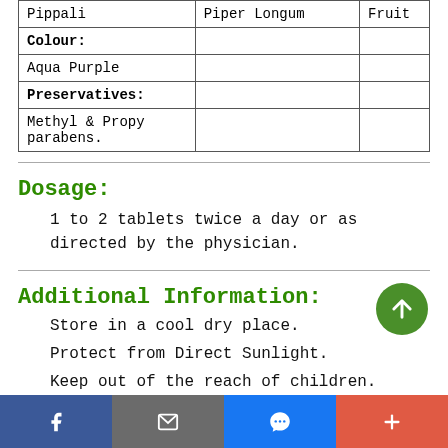| Pippali | Piper Longum | Fruit |
| Colour: |  |  |
| Aqua Purple |  |  |
| Preservatives: |  |  |
| Methyl & Propy parabens. |  |  |
Dosage:
1 to 2 tablets twice a day or as directed by the physician.
Additional Information:
Store in a cool dry place.
Protect from Direct Sunlight.
Keep out of the reach of children.